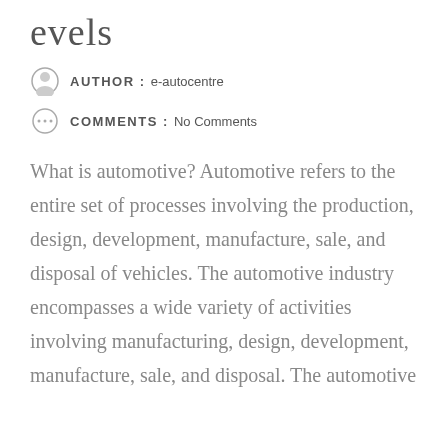evels
AUTHOR : e-autocentre
COMMENTS : No Comments
What is automotive? Automotive refers to the entire set of processes involving the production, design, development, manufacture, sale, and disposal of vehicles. The automotive industry encompasses a wide variety of activities involving manufacturing, design, development, manufacture, sale, and disposal. The automotive